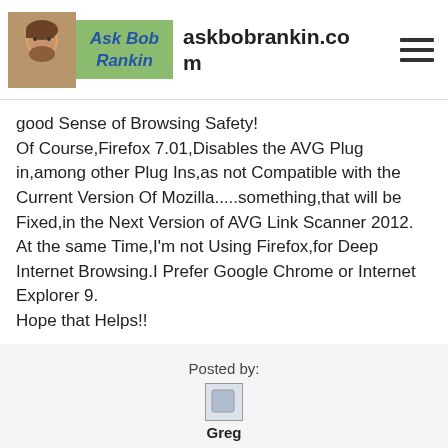askbobrankin.com
good Sense of Browsing Safety!
Of Course,Firefox 7.01,Disables the AVG Plug in,among other Plug Ins,as not Compatible with the Current Version Of Mozilla.....something,that will be Fixed,in the Next Version of AVG Link Scanner 2012.
At the same Time,I'm not Using Firefox,for Deep Internet Browsing.I Prefer Google Chrome or Internet Explorer 9.
Hope that Helps!!
Posted by:
Greg